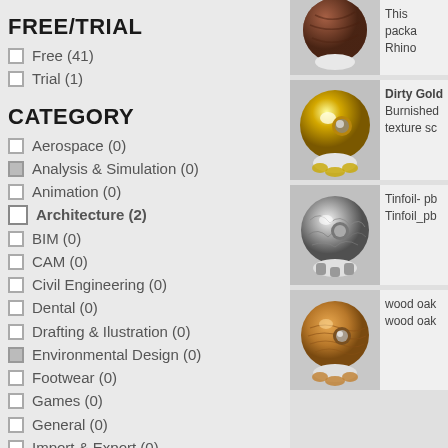FREE/TRIAL
Free (41)
Trial (1)
CATEGORY
Aerospace (0)
Analysis & Simulation (0)
Animation (0)
Architecture (2)
BIM (0)
CAM (0)
Civil Engineering (0)
Dental (0)
Drafting & Ilustration (0)
Environmental Design (0)
Footwear (0)
Games (0)
General (0)
Import & Export (0)
Interface (0)
Jewelry Design (0)
[Figure (screenshot): 3D render of a dark brown textured sphere on a white base, partial crop at top]
This packa Rhino
[Figure (screenshot): 3D render of a gold/brass sphere on a white base labeled Dirty Gold]
Dirty Gold Burnished texture sc
[Figure (screenshot): 3D render of a crumpled tinfoil silver sphere on a white base]
Tinfoil- pb Tinfoil_pb
[Figure (screenshot): 3D render of a wood oak textured sphere on a white base]
wood oak wood oak